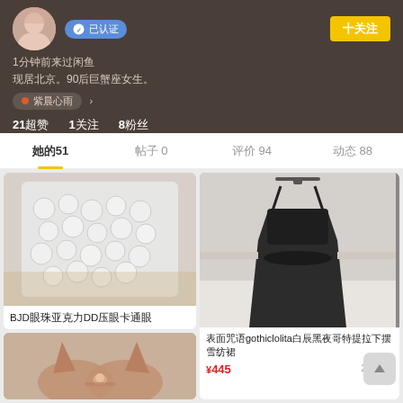[Figure (screenshot): User profile header section with avatar, verified badge, follow button, bio text, tag badge, and stats (21超赞, 1关注, 8粉丝)]
1分钟前来过闲鱼
现居北京。90后巨蟹座女生。
紫晨心雨
21超赞  1关注  8粉丝
她的51    帖子 0    评价 94    动态 88
[Figure (photo): Product photo: BJD眼珠亚克力DD压眼卡通眼 - white plastic eye pieces in a bag]
BJD眼珠亚克力DD压眼卡通眼
¥4    8人想要
[Figure (photo): Product photo: 表面咒语gothiclolita白辰黑夜哥特提拉下摆雪纺裙 - black gothic lolita dress on hanger with chain necklace]
表面咒语gothiclolita白辰黑夜哥特提拉下摆雪纺裙
¥445    2人想要
[Figure (photo): Product photo: elf ear prosthetics in tan/beige color]